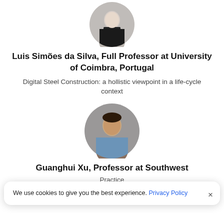[Figure (photo): Circular profile photo of Luis Simões da Silva, a middle-aged man in a dark jacket]
Luis Simões da Silva, Full Professor at University of Coimbra, Portugal
Digital Steel Construction: a hollistic viewpoint in a life-cycle context
[Figure (photo): Circular profile photo of Guanghui Xu, a man in a light blue shirt]
Guanghui Xu, Professor at Southwest
Practice
We use cookies to give you the best experience. Privacy Policy